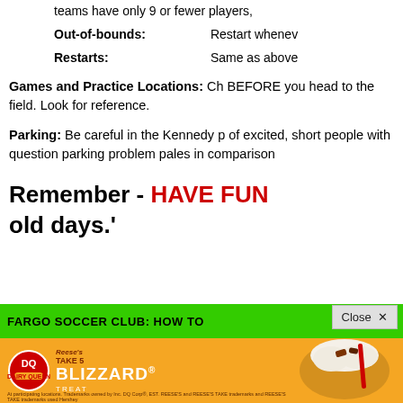teams have only 9 or fewer players, [text cut off]
Out-of-bounds:  Restart whenev[er cut off]
Restarts:       Same as above[cut off]
Games and Practice Locations:  Ch[eck the schedule] BEFORE you head to the field.  Look[up the address] for reference.
Parking:  Be careful in the Kennedy p[arking lot – full] of excited, short people with question[able balance.  A] parking problem pales in comparison[...]
Remember - HAVE FUN[, it's soccer and] old days.'
[Figure (screenshot): Green banner with text 'FARGO SOCCER CLUB: HOW TO [...]' and a Close button overlay]
[Figure (screenshot): Dairy Queen advertisement banner featuring Reese's Take 5 Blizzard Treat on an orange background]